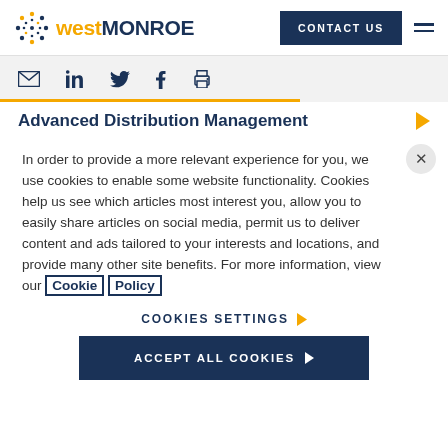[Figure (logo): West Monroe logo with dotted circle icon, 'west' in gold bold and 'MONROE' in dark navy uppercase]
CONTACT US
[Figure (infographic): Social sharing icons: email, LinkedIn, Twitter, Facebook, print]
Advanced Distribution Management
In order to provide a more relevant experience for you, we use cookies to enable some website functionality. Cookies help us see which articles most interest you, allow you to easily share articles on social media, permit us to deliver content and ads tailored to your interests and locations, and provide many other site benefits. For more information, view our Cookie Policy
COOKIES SETTINGS ▶
ACCEPT ALL COOKIES ▶